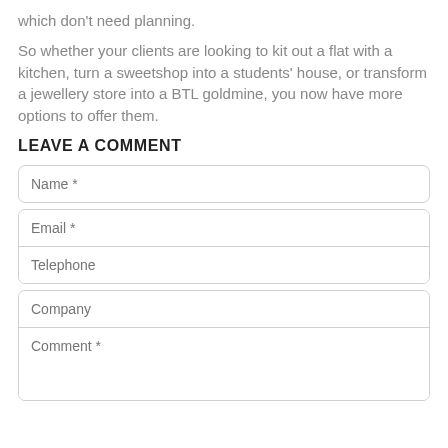which don't need planning.
So whether your clients are looking to kit out a flat with a kitchen, turn a sweetshop into a students' house, or transform a jewellery store into a BTL goldmine, you now have more options to offer them.
LEAVE A COMMENT
[Figure (screenshot): Web comment form with fields: Name *, Email *, Telephone, Company, Comment *]